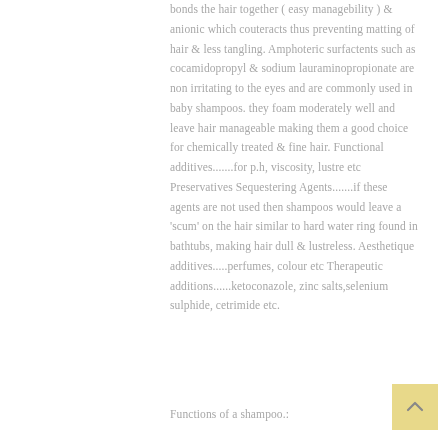bonds the hair together ( easy managebility ) & anionic which couteracts thus preventing matting of hair & less tangling. Amphoteric surfactents such as cocamidopropyl & sodium lauraminopropionate are non irritating to the eyes and are commonly used in baby shampoos. they foam moderately well and leave hair manageable making them a good choice for chemically treated & fine hair. Functional additives.......for p.h, viscosity, lustre etc Preservatives Sequestering Agents.......if these agents are not used then shampoos would leave a 'scum' on the hair similar to hard water ring found in bathtubs, making hair dull & lustreless. Aesthetique additives.....perfumes, colour etc Therapeutic additions......ketoconazole, zinc salts,selenium sulphide, cetrimide etc.
Functions of a shampoo.: